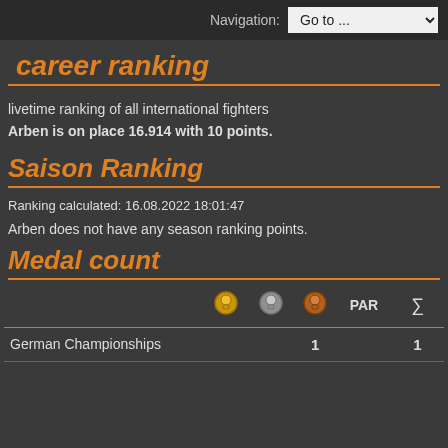Navigation: Go to ...
career ranking
livetime ranking of all international fighters
Arben is on place 16.914 with 10 points.
Saison Ranking
Ranking calculated: 16.08.2022 18:01:47
Arben does not have any season ranking points.
Medal count
|  | Gold | Silver | Bronze | PAR | Σ |
| --- | --- | --- | --- | --- | --- |
| German Championships |  |  | 1 |  | 1 |